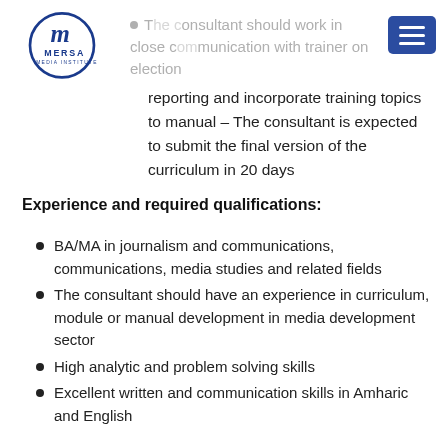[Figure (logo): MERSA Media Institute circular logo with stylized M]
The consultant should work in close communication with trainer on election reporting and incorporate training topics to manual – The consultant is expected to submit the final version of the curriculum in 20 days
Experience and required qualifications:
BA/MA in journalism and communications, communications, media studies and related fields
The consultant should have an experience in curriculum, module or manual development in media development sector
High analytic and problem solving skills
Excellent written and communication skills in Amharic and English